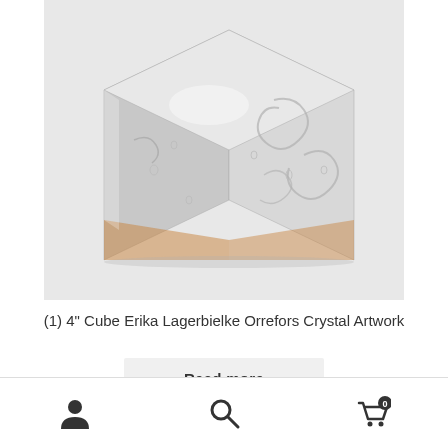[Figure (photo): A clear crystal glass cube artwork by Erika Lagerbielke for Orrefors, showing etched swirling patterns on its faces with an amber/orange reflective base, photographed on a light grey surface.]
(1) 4" Cube Erika Lagerbielke Orrefors Crystal Artwork
Read more
Navigation footer with user icon, search icon, and cart icon showing 0 items